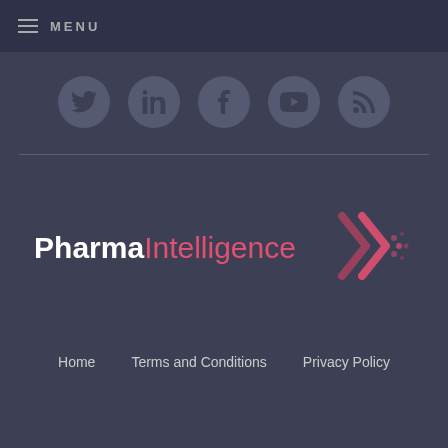MENU
[Figure (infographic): Row of five social media icons in dark circles: Twitter, LinkedIn, Facebook, YouTube, RSS feed]
[Figure (logo): Pharma Intelligence logo with double chevron arrow graphic in pink/red gradient]
Home    Terms and Conditions    Privacy Policy